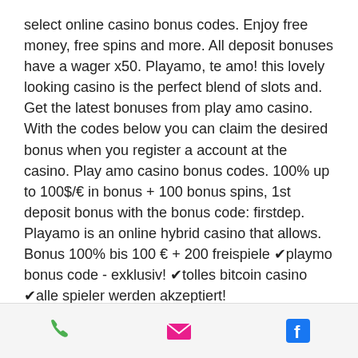select online casino bonus codes. Enjoy free money, free spins and more. All deposit bonuses have a wager x50. Playamo, te amo! this lovely looking casino is the perfect blend of slots and. Get the latest bonuses from play amo casino. With the codes below you can claim the desired bonus when you register a account at the casino. Play amo casino bonus codes. 100% up to 100$/€ in bonus + 100 bonus spins, 1st deposit bonus with the bonus code: firstdep. Playamo is an online hybrid casino that allows. Bonus 100% bis 100 € + 200 freispiele ✔playmo bonus code - exklusiv! ✔tolles bitcoin casino ✔alle spieler werden akzeptiert!
So, what are you waiting for, amo casino bonus codes.
Just like slots, video poker is highly dynamic; at the same moment, the game deals with
[Figure (infographic): Footer bar with three icons: a green phone icon, a pink/red email envelope icon, and a blue Facebook icon]